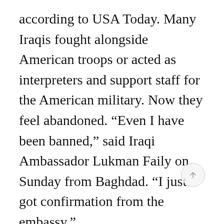according to USA Today. Many Iraqis fought alongside American troops or acted as interpreters and support staff for the American military. Now they feel abandoned. “Even I have been banned,” said Iraqi Ambassador Lukman Faily on Sunday from Baghdad. “I just got confirmation from the embassy.”
In an example of the vagaries of the free market, Canadian tech companies immediately petitioned Ottawa to grant visas to engineers